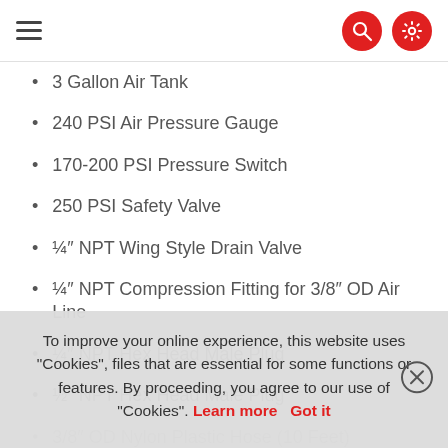navigation header with hamburger menu, search icon, settings icon
3 Gallon Air Tank
240 PSI Air Pressure Gauge
170-200 PSI Pressure Switch
250 PSI Safety Valve
¼″ NPT Wing Style Drain Valve
¼″ NPT Compression Fitting for 3/8″ OD Air Line
¼″ NPT Hex Head Male Plug
½″ NPT Hex Head Male Plug
3/8″ OD Nylon Plastic Hose (10 Feet)
To improve your online experience, this website uses "Cookies", files that are essential for some functions or features. By proceeding, you agree to our use of "Cookies". Learn more   Got it